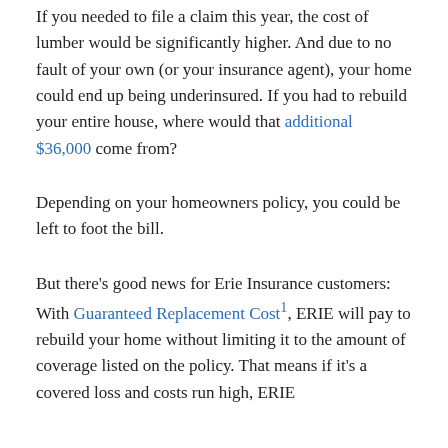If you needed to file a claim this year, the cost of lumber would be significantly higher. And due to no fault of your own (or your insurance agent), your home could end up being underinsured. If you had to rebuild your entire house, where would that additional $36,000 come from?
Depending on your homeowners policy, you could be left to foot the bill.
But there's good news for Erie Insurance customers: With Guaranteed Replacement Cost¹, ERIE will pay to rebuild your home without limiting it to the amount of coverage listed on the policy. That means if it's a covered loss and costs run high, ERIE